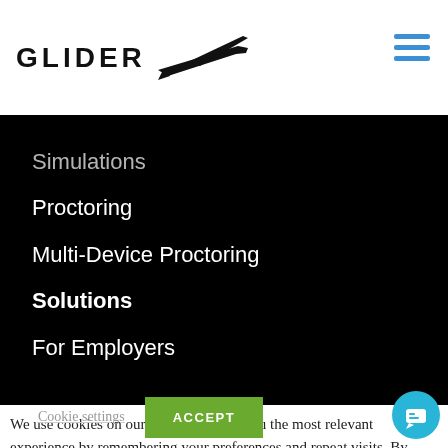[Figure (logo): Glider logo with text 'GLIDER' and a glider airplane silhouette SVG icon]
[Figure (other): Hamburger menu icon (three horizontal blue lines) in top right corner]
Simulations
Proctoring
Multi-Device Proctoring
Solutions
For Employers
We use cookies on our website to give you the most relevant experience by remembering your preferences and repeat visits. By clicking "Accept", you consent to the use of ALL the cookies. However you may visit Cookie Settings to provide a controlled consent.
Cookie settings
ACCEPT